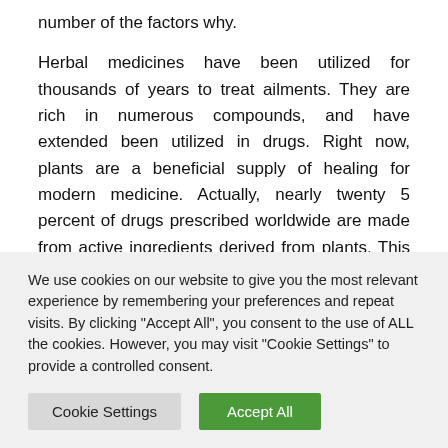number of the factors why.

Herbal medicines have been utilized for thousands of years to treat ailments. They are rich in numerous compounds, and have extended been utilized in drugs. Right now, plants are a beneficial supply of healing for modern medicine. Actually, nearly twenty 5 percent of drugs prescribed worldwide are made from active ingredients derived from plants. This includes over 70 percent of drugs for cancer. Natural products could be just
We use cookies on our website to give you the most relevant experience by remembering your preferences and repeat visits. By clicking "Accept All", you consent to the use of ALL the cookies. However, you may visit "Cookie Settings" to provide a controlled consent.